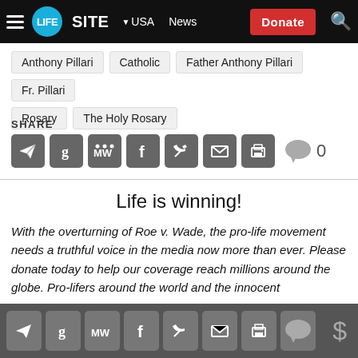LifeSite | USA | News | Donate
Anthony Pillari
Catholic
Father Anthony Pillari
Fr. Pillari
Rosary
The Holy Rosary
SHARE
[Figure (infographic): Row of social share icons: Telegram, Gettr, MeWe, Facebook, Twitter, Email, Print, Comment bubble with 0]
Life is winning!
With the overturning of Roe v. Wade, the pro-life movement needs a truthful voice in the media now more than ever. Please donate today to help our coverage reach millions around the globe. Pro-lifers around the world and the innocent
Bottom bar with social share icons and dollar sign